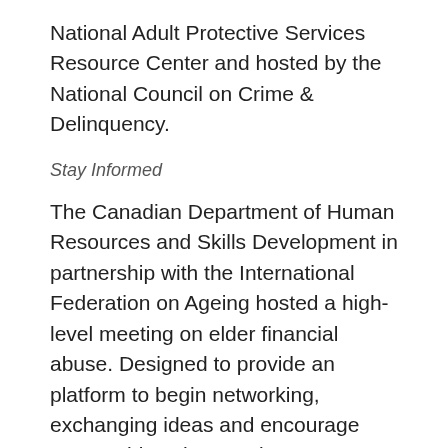National Adult Protective Services Resource Center and hosted by the National Council on Crime & Delinquency.
Stay Informed
The Canadian Department of Human Resources and Skills Development in partnership with the International Federation on Ageing hosted a high-level meeting on elder financial abuse. Designed to provide an platform to begin networking, exchanging ideas and encourage partnerships, the meeting’s content has been summarized in a report. Entitled, “Summary Report: ‘Financial Abuse of Seniors Meeting’,” the report is available by clicking here.
The Financial Fraud Research Center (FFRC), a joint project between Stanford University and the FINRA Investor Education Foundation, has released a new